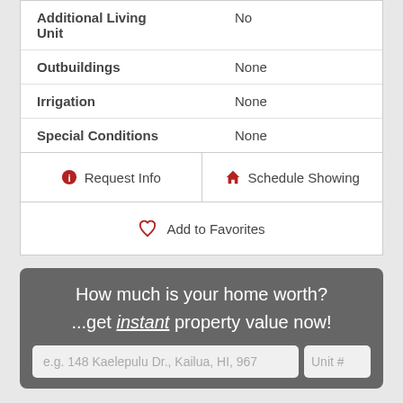| Property | Value |
| --- | --- |
| Additional Living Unit | No |
| Outbuildings | None |
| Irrigation | None |
| Special Conditions | None |
Request Info
Schedule Showing
Add to Favorites
How much is your home worth? ...get instant property value now!
e.g. 148 Kaelepulu Dr., Kailua, HI, 967
Unit #